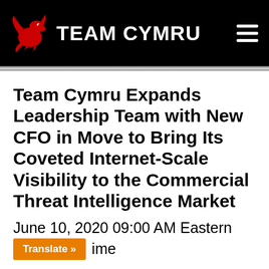TEAM CYMRU
Team Cymru Expands Leadership Team with New CFO in Move to Bring Its Coveted Internet-Scale Visibility to the Commercial Threat Intelligence Market
June 10, 2020 09:00 AM Eastern Daylight Time
Translate »